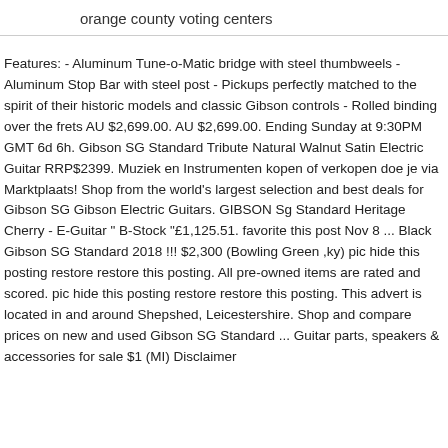orange county voting centers
Features: - Aluminum Tune-o-Matic bridge with steel thumbweels - Aluminum Stop Bar with steel post - Pickups perfectly matched to the spirit of their historic models and classic Gibson controls - Rolled binding over the frets AU $2,699.00. AU $2,699.00. Ending Sunday at 9:30PM GMT 6d 6h. Gibson SG Standard Tribute Natural Walnut Satin Electric Guitar RRP$2399. Muziek en Instrumenten kopen of verkopen doe je via Marktplaats! Shop from the world's largest selection and best deals for Gibson SG Gibson Electric Guitars. GIBSON Sg Standard Heritage Cherry - E-Guitar " B-Stock "£1,125.51. favorite this post Nov 8 ... Black Gibson SG Standard 2018 !!! $2,300 (Bowling Green ,ky) pic hide this posting restore restore this posting. All pre-owned items are rated and scored. pic hide this posting restore restore this posting. This advert is located in and around Shepshed, Leicestershire. Shop and compare prices on new and used Gibson SG Standard ... Guitar parts, speakers & accessories for sale $1 (MI) Disclaimer